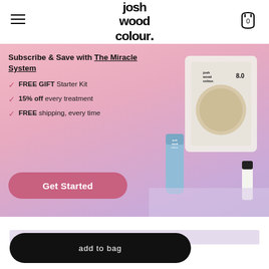josh wood colour
[Figure (screenshot): Promotional banner for Josh Wood Colour subscription with product images (hair colour kit, blue tube, small bottle). Pink/lavender gradient background.]
Subscribe & Save with The Miracle System
FREE GIFT Starter Kit
15% off every treatment
FREE shipping, every time
Get Started
add to bag